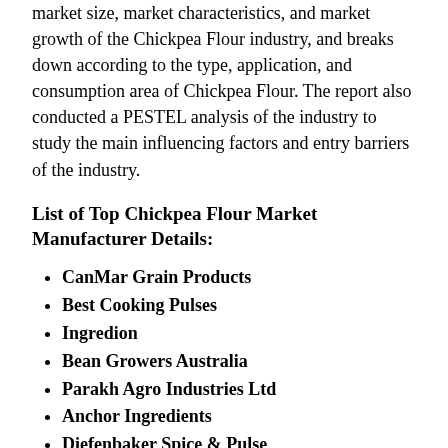market size, market characteristics, and market growth of the Chickpea Flour industry, and breaks down according to the type, application, and consumption area of Chickpea Flour. The report also conducted a PESTEL analysis of the industry to study the main influencing factors and entry barriers of the industry.
List of Top Chickpea Flour Market Manufacturer Details:
CanMar Grain Products
Best Cooking Pulses
Ingredion
Bean Growers Australia
Parakh Agro Industries Ltd
Anchor Ingredients
Diefenbaker Spice & Pulse
ADM
Covid 19 Impact (Scenario View) Analysis...